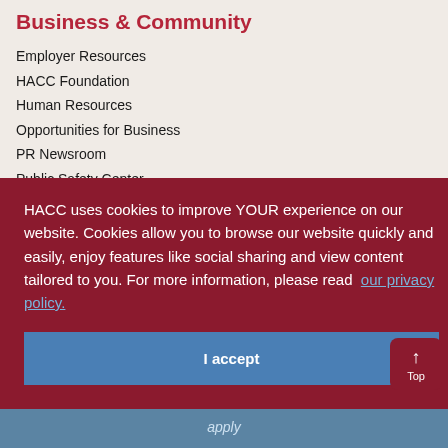Business & Community
Employer Resources
HACC Foundation
Human Resources
Opportunities for Business
PR Newsroom
Public Safety Center
Procurement & Contracts
B... (partially visible)
HACC uses cookies to improve YOUR experience on our website. Cookies allow you to browse our website quickly and easily, enjoy features like social sharing and view content tailored to you. For more information, please read our privacy policy.
I accept
Top